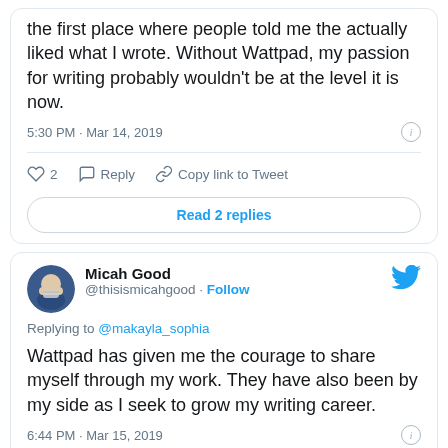the first place where people told me the actually liked what I wrote. Without Wattpad, my passion for writing probably wouldn't be at the level it is now.
5:30 PM · Mar 14, 2019
♡ 2   Reply   Copy link to Tweet
Read 2 replies
Micah Good @thisismicahgood · Follow
Replying to @makayla_sophia
Wattpad has given me the courage to share myself through my work. They have also been by my side as I seek to grow my writing career.
6:44 PM · Mar 15, 2019